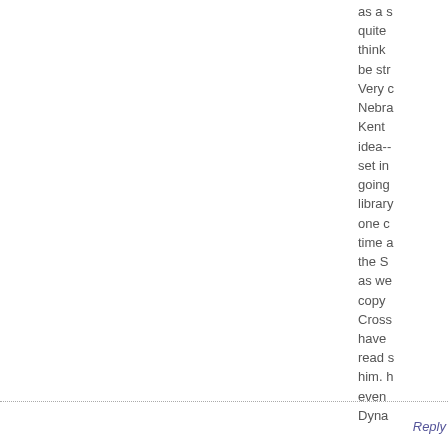as a s quite think be str Very c Nebra Kent idea-- set in going library one c time a the S as we copy Cross have read s him. h even Dyna
Reply